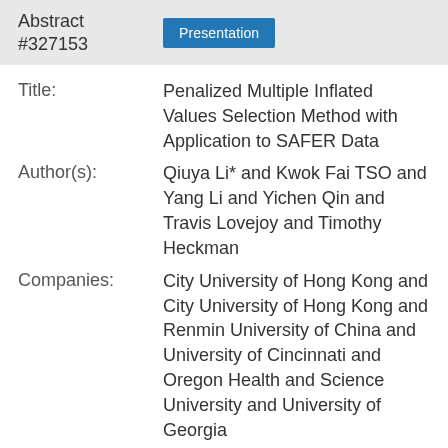Abstract #327153 | Presentation
Title: Penalized Multiple Inflated Values Selection Method with Application to SAFER Data
Author(s): Qiuya Li* and Kwok Fai TSO and Yang Li and Yichen Qin and Travis Lovejoy and Timothy Heckman
Companies: City University of Hong Kong and City University of Hong Kong and Renmin University of China and University of Cincinnati and Oregon Health and Science University and University of Georgia